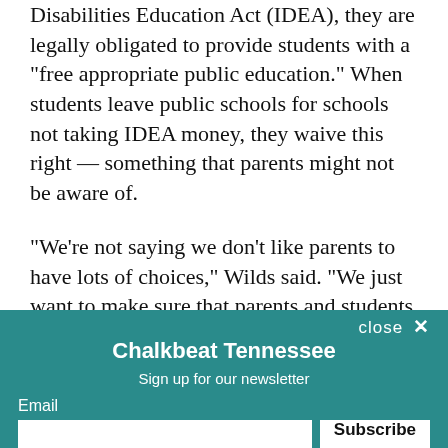Disabilities Education Act (IDEA), they are legally obligated to provide students with a “free appropriate public education.” When students leave public schools for schools not taking IDEA money, they waive this right — something that parents might not be aware of.
“We’re not saying we don’t like parents to have lots of choices,” Wilds said. “We just want to make sure that parents and students realize what they...
The bill counts up proportion of special education...
[Figure (screenshot): Newsletter signup popup for Chalkbeat Tennessee with teal background, email input field, Subscribe button, and privacy notice.]